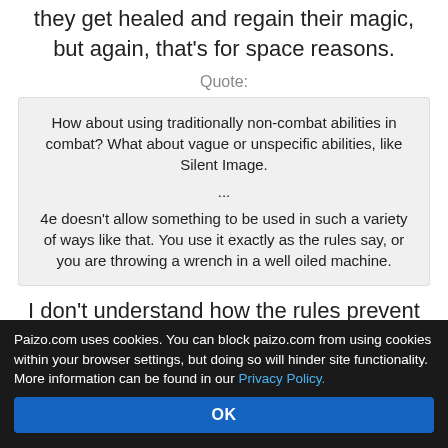they get healed and regain their magic, but again, that's for space reasons.
Quote:
How about using traditionally non-combat abilities in combat? What about vague or unspecific abilities, like Silent Image.
...
4e doesn't allow something to be used in such a variety of ways like that. You use it exactly as the rules say, or you are throwing a wrench in a well oiled machine.
I don't understand how the rules prevent players and GMs from rolling with that. Does 4E simply not have spells like that anymore? Are players somehow prevented from fashioning makeshift camouflage or
Paizo.com uses cookies. You can block paizo.com from using cookies within your browser settings, but doing so will hinder site functionality. More information can be found in our Privacy Policy.
OK